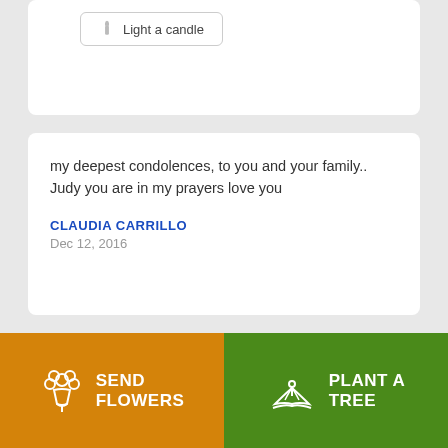[Figure (other): Light a candle button with flame icon]
my deepest condolences, to you and your family.. Judy you are in my prayers love you
CLAUDIA CARRILLO
Dec 12, 2016
Renee and Floyd,  I am sorry to read about the death of your son.  Aberdeen, Idaho
[Figure (other): Send Flowers button with flower bouquet icon]
[Figure (other): Plant a Tree button with plant/hand icon]